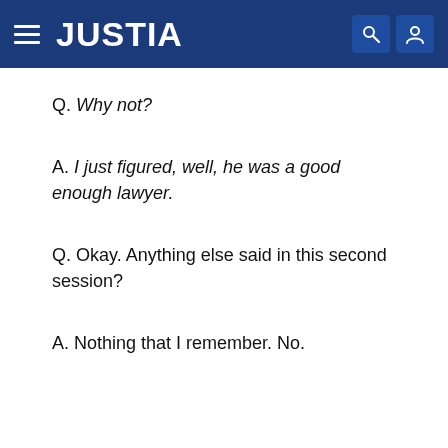JUSTIA
Q. Why not?
A. I just figured, well, he was a good enough lawyer.
Q. Okay. Anything else said in this second session?
A. Nothing that I remember. No.